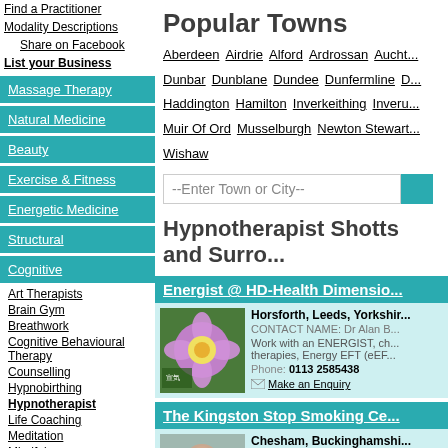Find a Practitioner
Modality Descriptions
Share on Facebook
List your Business
Massage Therapy
Natural Medicine
Beauty
Exercise & Fitness
Energetic Medicine
Structural
Cognitive
Art Therapists
Brain Gym
Breathwork
Cognitive Behavioural Therapy
Counselling
Hypnobirthing
Hypnotherapist
Life Coaching
Meditation
Mindfulness
Popular Towns
Aberdeen  Airdrie  Alford  Ardrossan  Aucht... Dunbar  Dunblane  Dundee  Dunfermline  D... Haddington  Hamilton  Inverkeithing  Inveru... Muir Of Ord  Musselburgh  Newton Stewart... Wishaw
--Enter Town or City--
Hypnotherapist Shotts and Surro...
Energist @ HD-Health Dimensio...
Horsforth, Leeds, Yorkshir... CONTACT NAME: Dr Alan B... Work with an ENERGIST, ch... therapies, Energy EFT (eEF... Phone: 0113 2585438 Make an Enquiry
The Kingston Stop Smoking Ce...
Chesham, Buckinghamshi... CONTACT NAME: Ian Mack... Discover how effective you...